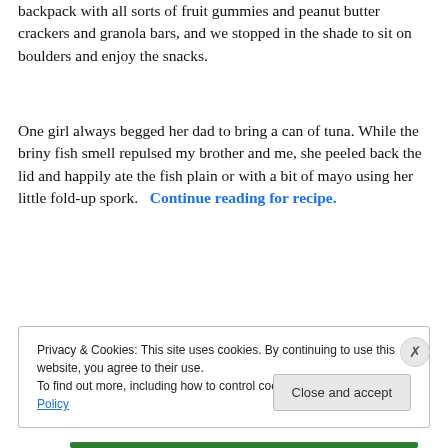backpack with all sorts of fruit gummies and peanut butter crackers and granola bars, and we stopped in the shade to sit on boulders and enjoy the snacks.
One girl always begged her dad to bring a can of tuna. While the briny fish smell repulsed my brother and me, she peeled back the lid and happily ate the fish plain or with a bit of mayo using her little fold-up spork.   Continue reading for recipe.
Privacy & Cookies: This site uses cookies. By continuing to use this website, you agree to their use.
To find out more, including how to control cookies, see here: Cookie Policy